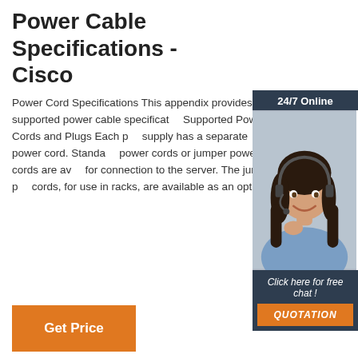Power Cable Specifications - Cisco
Power Cord Specifications This appendix provides supported power cable specifications. Supported Power Cords and Plugs Each power supply has a separate power cord. Standard power cords or jumper power cords are available for connection to the server. The jumper power cords, for use in racks, are available as an optional
[Figure (illustration): Sidebar advertisement showing a woman with a headset, labeled 24/7 Online at top and Click here for free chat! with a QUOTATION button at bottom]
Get Price